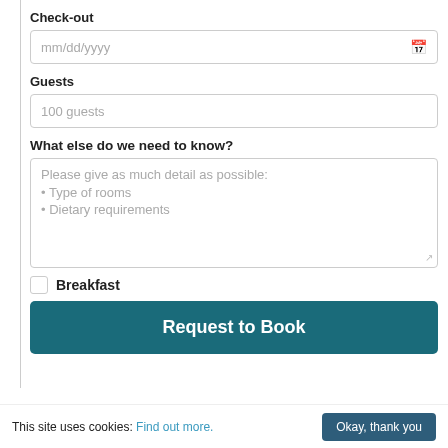Check-out
mm/dd/yyyy
Guests
100 guests
What else do we need to know?
Please give as much detail as possible:
Type of rooms
Dietary requirements
Breakfast
Request to Book
This site uses cookies: Find out more.
Okay, thank you